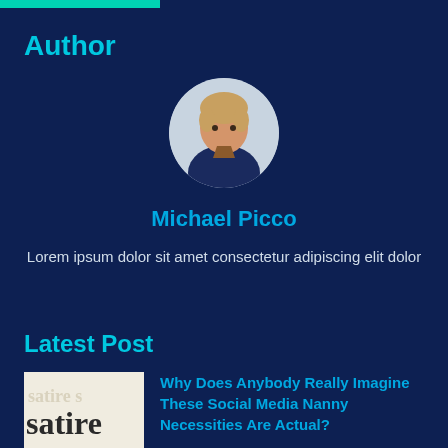Author
[Figure (photo): Circular avatar photo of a young man with light brown hair wearing a dark jacket]
Michael Picco
Lorem ipsum dolor sit amet consectetur adipiscing elit dolor
Latest Post
[Figure (photo): Thumbnail image showing the word 'satire' printed in large text on a white background]
Why Does Anybody Really Imagine These Social Media Nanny Necessities Are Actual?
Editorial / August 12, 2022